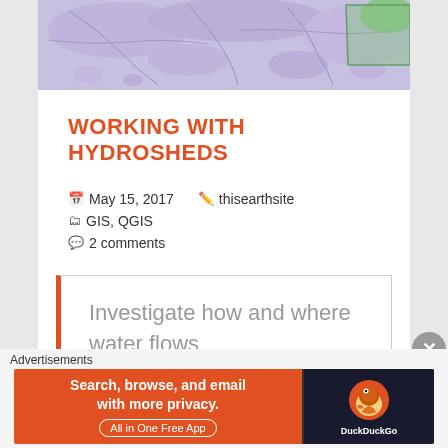[Figure (map): Partial map showing Southeast Asia region with purple/blue colored land areas and green highlighted region, with river network lines]
WORKING WITH HYDROSHEDS
May 15, 2017   thisearthsite   GIS, QGIS   2 comments
Investigate how and where water flows
Step 1
Advertisements
[Figure (screenshot): DuckDuckGo advertisement banner: Search, browse, and email with more privacy. All in One Free App]